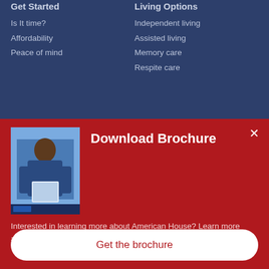Get Started
Is It time?
Affordability
Peace of mind
Living Options
Independent living
Assisted living
Memory care
Respite care
Communities
About
Download Brochure
[Figure (photo): Person holding a brochure, senior living promotional image]
Interested in learning more about American House? Learn more about our care options, amenities, and more...
Get the brochure